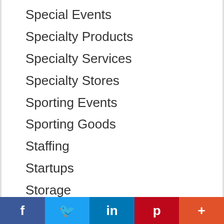Special Events
Specialty Products
Specialty Services
Specialty Stores
Sporting Events
Sporting Goods
Staffing
Startups
Storage
Supplies
Takeout
Taxi Service
Technology
Technology Products